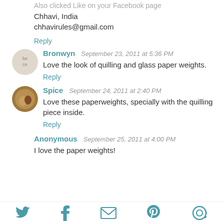Also clicked Like on your Facebook page
Chhavi, India
chhavirules@gmail.com
Reply
Bronwyn  September 23, 2011 at 5:36 PM
Love the look of quilling and glass paper weights.
Reply
Spice  September 24, 2011 at 2:40 PM
Love these paperweights, specially with the quilling piece inside.
Reply
Anonymous  September 25, 2011 at 4:00 PM
I love the paper weights!
[Figure (infographic): Social media share icons footer: Twitter bird, Facebook f, envelope/email, Pinterest P, and a circular share icon, all in teal color]